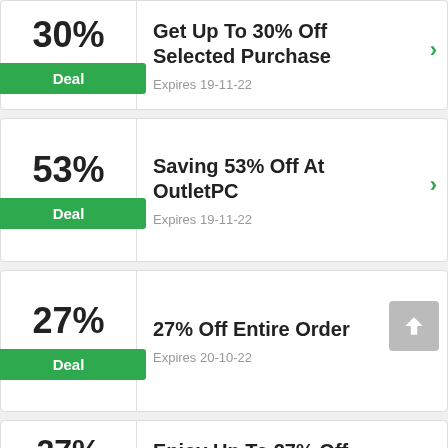30%
Deal
Get Up To 30% Off Selected Purchase
Expires 19-11-22
53%
Deal
Saving 53% Off At OutletPC
Expires 19-11-22
27%
Deal
27% Off Entire Order
Expires 20-10-22
27%
Enjoy Up To 27% Off